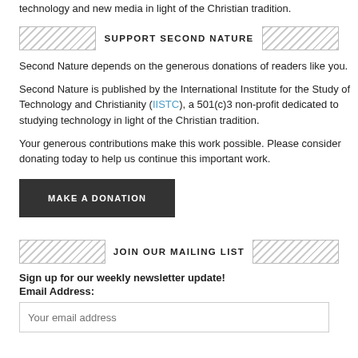technology and new media in light of the Christian tradition.
SUPPORT SECOND NATURE
Second Nature depends on the generous donations of readers like you.
Second Nature is published by the International Institute for the Study of Technology and Christianity (IISTC), a 501(c)3 non-profit dedicated to studying technology in light of the Christian tradition.
Your generous contributions make this work possible. Please consider donating today to help us continue this important work.
MAKE A DONATION
JOIN OUR MAILING LIST
Sign up for our weekly newsletter update!
Email Address:
Your email address